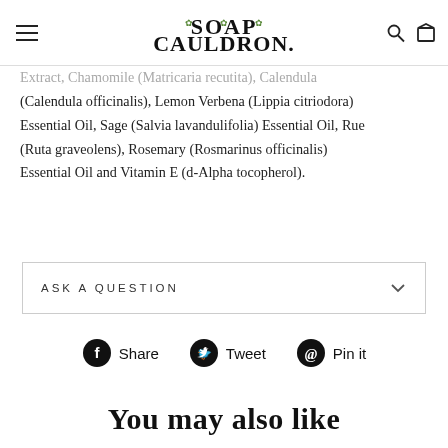Soap Cauldron
Extract, Chamomile (Matricaria recutita), Calendula (Calendula officinalis), Lemon Verbena (Lippia citriodora) Essential Oil, Sage (Salvia lavandulifolia) Essential Oil, Rue (Ruta graveolens), Rosemary (Rosmarinus officinalis) Essential Oil and Vitamin E (d-Alpha tocopherol).
ASK A QUESTION
Share   Tweet   Pin it
You may also like